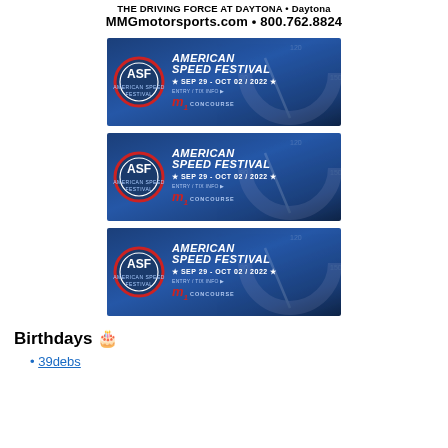THE DRIVING FORCE AT DAYTONA • Daytona MMGmotorsports.com • 800.762.8824
[Figure (illustration): American Speed Festival banner ad: ASF logo on left, text 'AMERICAN SPEED FESTIVAL ★ SEP 29 - OCT 02 / 2022 ★ ENTRY / TIX INFO ▶' with M1 Concourse logo, blue background with speedometer]
[Figure (illustration): American Speed Festival banner ad (second copy): ASF logo on left, text 'AMERICAN SPEED FESTIVAL ★ SEP 29 - OCT 02 / 2022 ★ ENTRY / TIX INFO ▶' with M1 Concourse logo, blue background with speedometer]
[Figure (illustration): American Speed Festival banner ad (third copy): ASF logo on left, text 'AMERICAN SPEED FESTIVAL ★ SEP 29 - OCT 02 / 2022 ★ ENTRY / TIX INFO ▶' with M1 Concourse logo, blue background with speedometer]
Birthdays 🎂
39debs